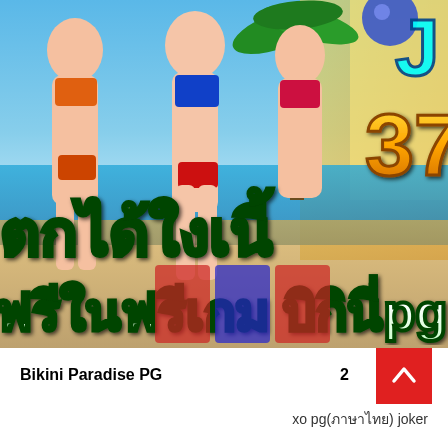[Figure (illustration): Promotional banner for Bikini Paradise PG slot game. Shows animated bikini-clad women on a beach background. Large Thai text reads 'ตกได้ใงเนี้' and 'ฟรีในฟรีเกม บิกินี่pg'. Number 37 visible in golden style on right side.]
Bikini Paradise PG
2
xo pg(ภาษาไทย) joker